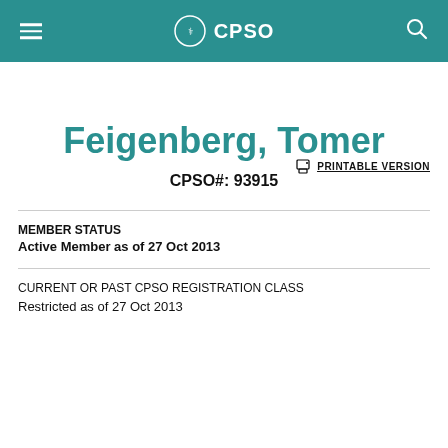CPSO
PRINTABLE VERSION
Feigenberg, Tomer
CPSO#: 93915
MEMBER STATUS
Active Member as of 27 Oct 2013
CURRENT OR PAST CPSO REGISTRATION CLASS
Restricted as of 27 Oct 2013
Summary